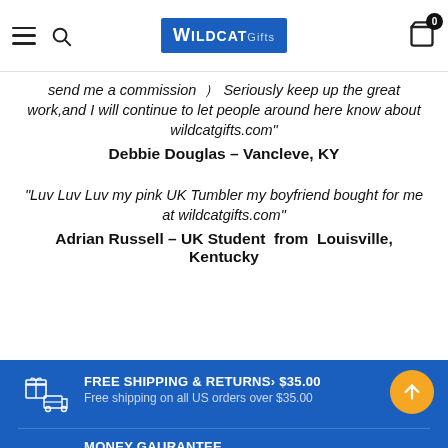WildcatGifts.com header with navigation and logo
send me a commission ) Seriously keep up the great work,and I will continue to let people around here know about wildcatgifts.com"
Debbie Douglas – Vancleve, KY
"Luv Luv Luv my pink UK Tumbler my boyfriend bought for me at wildcatgifts.com"
Adrian Russell – UK Student from Louisville, Kentucky
FREE SHIPPING & RETURNS› $35.00
Free shipping on all US orders over $35.00
MONEY GAURANTEE
30 days money back guarantee